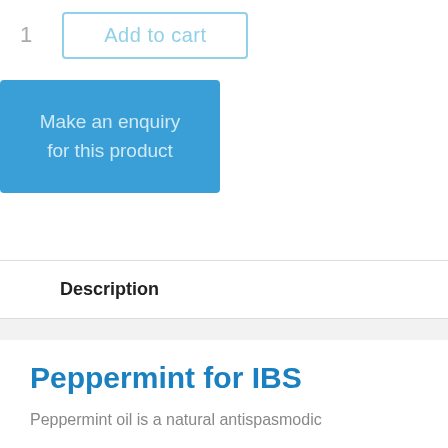1
Add to cart
Make an enquiry for this product
Description
Additional information
Peppermint for IBS
Peppermint oil is a natural antispasmodic